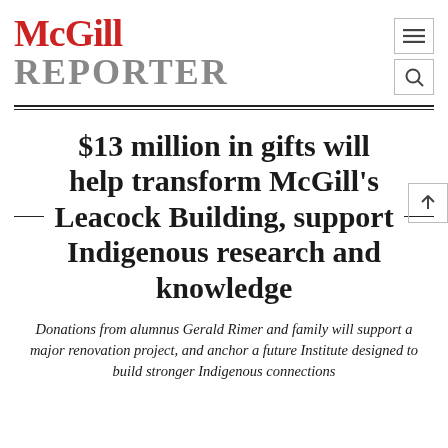McGill REPORTER
$13 million in gifts will help transform McGill's Leacock Building, support Indigenous research and knowledge
Donations from alumnus Gerald Rimer and family will support a major renovation project, and anchor a future Institute designed to build stronger Indigenous connections